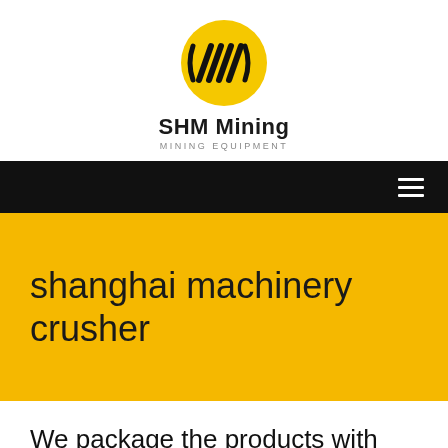[Figure (logo): SHM Mining logo: yellow oval with black diagonal lines/stripes forming an abstract M shape, with text 'SHM Mining' and 'MINING EQUIPMENT' below]
[Figure (other): Black navigation bar with hamburger menu icon (three horizontal white lines) on the right side]
shanghai machinery crusher
We package the products with best services to make you a happy